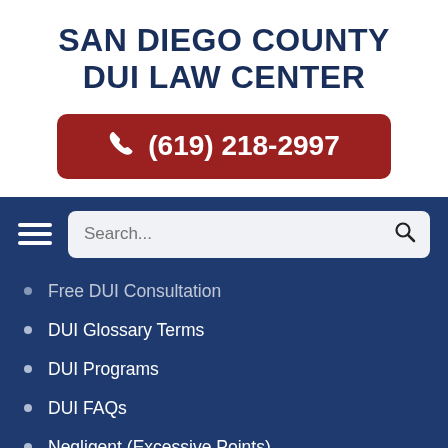SAN DIEGO COUNTY DUI LAW CENTER
(619) 218-2997
Free DUI Consultation
DUI Glossary Terms
DUI Programs
DUI FAQs
Negligent (Excessive Points)
Expungement
Law Resource Links